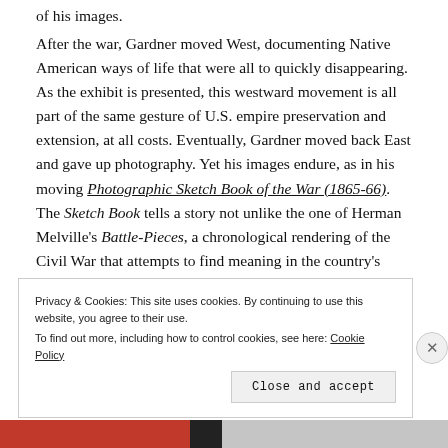of his images.
After the war, Gardner moved West, documenting Native American ways of life that were all to quickly disappearing. As the exhibit is presented, this westward movement is all part of the same gesture of U.S. empire preservation and extension, at all costs. Eventually, Gardner moved back East and gave up photography. Yet his images endure, as in his moving Photographic Sketch Book of the War (1865-66). The Sketch Book tells a story not unlike the one of Herman Melville's Battle-Pieces, a chronological rendering of the Civil War that attempts to find meaning in the country's moment of precarity. Committed to narrativizing history, Gardner's
Privacy & Cookies: This site uses cookies. By continuing to use this website, you agree to their use.
To find out more, including how to control cookies, see here: Cookie Policy
Close and accept